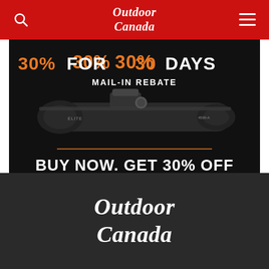Outdoor Canada
[Figure (screenshot): Advertisement for Bushnell Elite 4500 4x Riflescope. Black background with orange and white text reading '30% FOR 30 DAYS MAIL-IN REBATE'. Shows a riflescope image. Text: 'BUY NOW. GET 30% OFF THE PURCHASE PRICE OF ANY ELITE 4500 4X RIFLESCOPE. AUGUST 15, 2022 – SEPTEMBER 15, 2022']
[Figure (logo): Outdoor Canada logo in white text on dark background, italic serif font, two lines: 'Outdoor' and 'Canada']